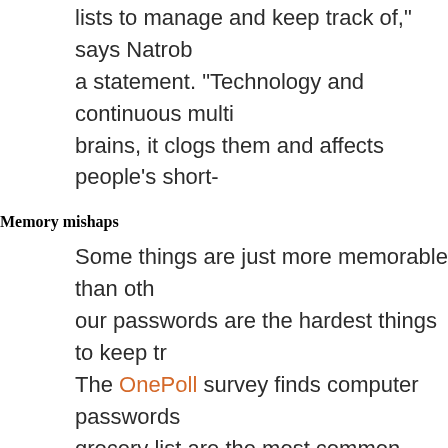lists to manage and keep track of," says Natrob… a statement. "Technology and continuous multi… brains, it clogs them and affects people's short-…
Memory mishaps
Some things are just more memorable than oth… our passwords are the hardest things to keep tr… The OnePoll survey finds computer passwords … grocery list are the most common things people…
Tying for the second-biggest forgetful moments… Americans say they commonly misplace their k… they entered a room.
Forgetting someone's name (47%), forgetting w… (35%), and forgetting their own PIN numbers (2… the list of biggest memory lapses…